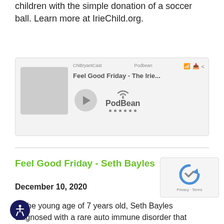children with the simple donation of a soccer ball. Learn more at IrieChild.org.
[Figure (screenshot): PodBean podcast player widget showing 'Feel Good Friday - The Irie...' episode with play button and PodBean logo]
Feel Good Friday - Seth Bayles
December 10, 2020
At the young age of 7 years old, Seth Bayles diagnosed with a rare auto immune disorder that would affect his life forever.